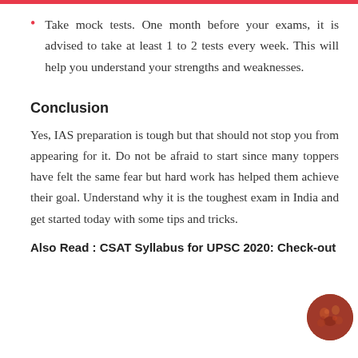Take mock tests. One month before your exams, it is advised to take at least 1 to 2 tests every week. This will help you understand your strengths and weaknesses.
Conclusion
Yes, IAS preparation is tough but that should not stop you from appearing for it. Do not be afraid to start since many toppers have felt the same fear but hard work has helped them achieve their goal. Understand why it is the toughest exam in India and get started today with some tips and tricks.
Also Read : CSAT Syllabus for UPSC 2020: Check-out